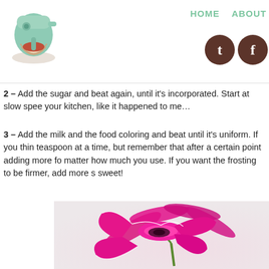HOME  ABOUT
[Figure (logo): Teal/mint stand mixer illustration logo in top left]
[Figure (illustration): Two brown circular social media icon buttons - Twitter (t) and Facebook (f)]
2 – Add the sugar and beat again, until it's incorporated. Start at slow spee your kitchen, like it happened to me…
3 – Add the milk and the food coloring and beat until it's uniform. If you thin teaspoon at a time, but remember that after a certain point adding more fo matter how much you use. If you want the frosting to be firmer, add more s sweet!
[Figure (photo): A bright pink/magenta carnation or dianthus flower with white-edged petals and a green stem, photographed against a soft blush/white background]